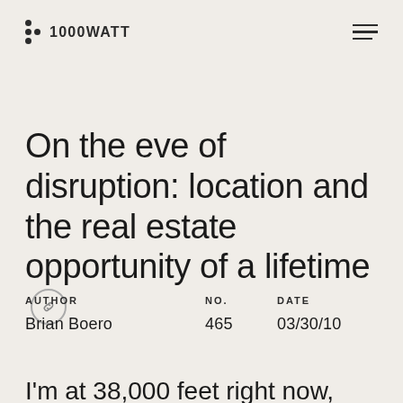1000WATT
On the eve of disruption: location and the real estate opportunity of a lifetime
AUTHOR
Brian Boero
NO.
465
DATE
03/30/10
I'm at 38,000 feet right now, thinking